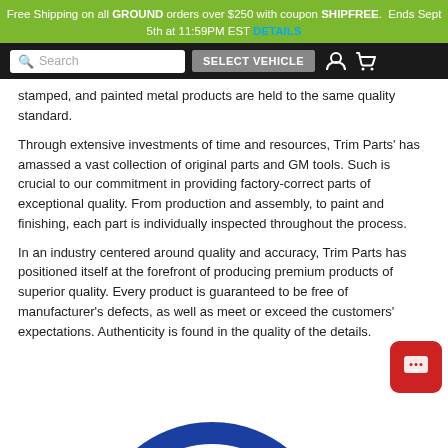Free Shipping on all GROUND orders over $250 with coupon SHIPFREE. Ends Sept 5th at 11:59PM EST DETAILS
Search | SELECT VEHICLE
stamped, and painted metal products are held to the same quality standard.
Through extensive investments of time and resources, Trim Parts' has amassed a vast collection of original parts and GM tools. Such is crucial to our commitment in providing factory-correct parts of exceptional quality. From production and assembly, to paint and finishing, each part is individually inspected throughout the process.
In an industry centered around quality and accuracy, Trim Parts has positioned itself at the forefront of producing premium products of superior quality. Every product is guaranteed to be free of manufacturer's defects, as well as meet or exceed the customers' expectations. Authenticity is found in the quality of the details.
[Figure (logo): Circular logo with blue and red arcs, partial view at bottom of page]